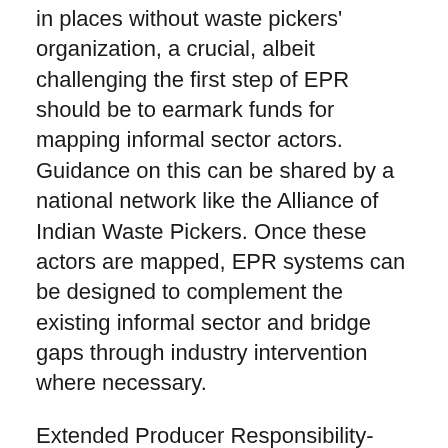in places without waste pickers' organization, a crucial, albeit challenging the first step of EPR should be to earmark funds for mapping informal sector actors. Guidance on this can be shared by a national network like the Alliance of Indian Waste Pickers. Once these actors are mapped, EPR systems can be designed to complement the existing informal sector and bridge gaps through industry intervention where necessary.
Extended Producer Responsibility-based interventions can be designed to address these challenges in a way that strengthens the existing informal waste sector. EPR legislation for highly recyclable plastics like PET, HDPE, PP and LDPE, which are handled effectively by the informal sector, should be limited to strengthening this sector to maintain and report data on waste handled. Setting up centralized, private collection streams for these materials may be simpler for corporates, but will